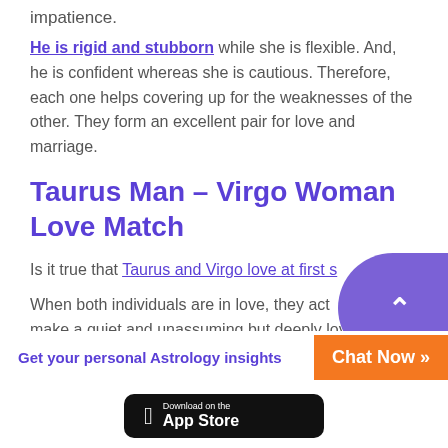impatience.
He is rigid and stubborn while she is flexible. And, he is confident whereas she is cautious. Therefore, each one helps covering up for the weaknesses of the other. They form an excellent pair for love and marriage.
Taurus Man – Virgo Woman Love Match
Is it true that Taurus and Virgo love at first s[ight]
When both individuals are in love, they act[ually] make a quiet and unassuming but deeply loy[al]
Get your personal Astrology insights
Chat Now »
[Figure (other): Download on the App Store button]